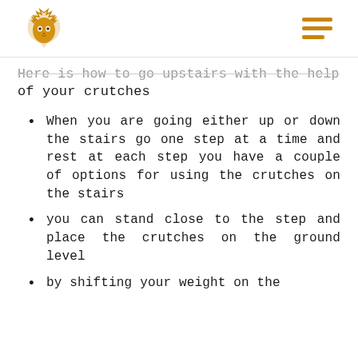[Logo: lion head icon] [Hamburger menu]
Here is how to go upstairs with the help of your crutches
When you are going either up or down the stairs go one step at a time and rest at each step you have a couple of options for using the crutches on the stairs
you can stand close to the step and place the crutches on the ground level
by shifting your weight on the